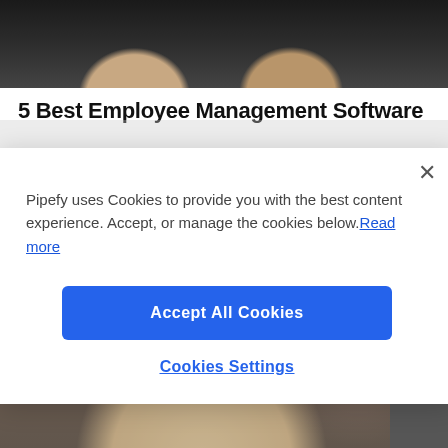[Figure (photo): Two people smiling, photographed from below the chin up, dark background]
5 Best Employee Management Software
Pipefy uses Cookies to provide you with the best content experience. Accept, or manage the cookies below.Read more
Accept All Cookies
Cookies Settings
[Figure (photo): Woman with long wavy hair sitting at a desk, viewed from behind/side, dark background]